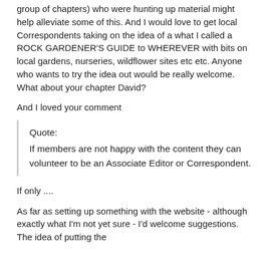group of chapters) who were hunting up material might help alleviate some of this. And I would love to get local Correspondents taking on the idea of a what I called a ROCK GARDENER'S GUIDE to WHEREVER with bits on local gardens, nurseries, wildflower sites etc etc. Anyone who wants to try the idea out would be really welcome. What about your chapter David?
And I loved your comment
Quote:
If members are not happy with the content they can volunteer to be an Associate Editor or Correspondent.
If only ....
As far as setting up something with the website - although exactly what I'm not yet sure - I'd welcome suggestions. The idea of putting the